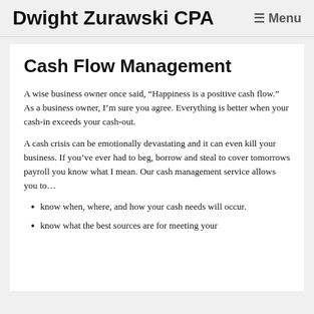Dwight Zurawski CPA  ☰ Menu
Cash Flow Management
A wise business owner once said, “Happiness is a positive cash flow.” As a business owner, I’m sure you agree. Everything is better when your cash-in exceeds your cash-out.
A cash crisis can be emotionally devastating and it can even kill your business. If you’ve ever had to beg, borrow and steal to cover tomorrows payroll you know what I mean. Our cash management service allows you to…
know when, where, and how your cash needs will occur.
know what the best sources are for meeting your